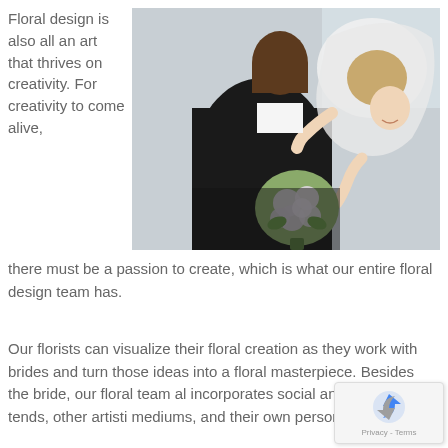Floral design is also all an art that thrives on creativity. For creativity to come alive,
[Figure (photo): Wedding couple embracing, bride holding white and green floral bouquet, back view]
there must be a passion to create, which is what our entire floral design team has.
Our florists can visualize their floral creation as they work with brides and turn those ideas into a floral masterpiece. Besides the bride, our floral team also incorporates social and design tends, other artistic mediums, and their own personality as artists.